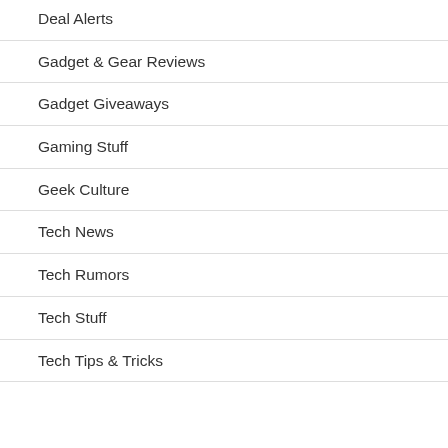Deal Alerts
Gadget & Gear Reviews
Gadget Giveaways
Gaming Stuff
Geek Culture
Tech News
Tech Rumors
Tech Stuff
Tech Tips & Tricks